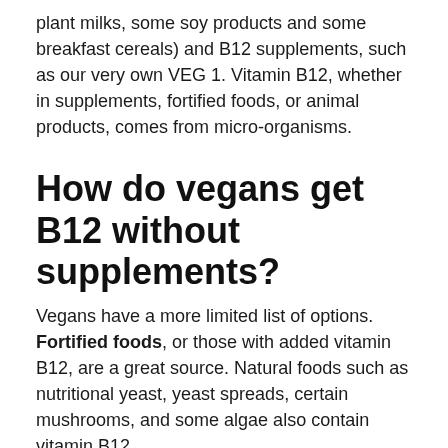plant milks, some soy products and some breakfast cereals) and B12 supplements, such as our very own VEG 1. Vitamin B12, whether in supplements, fortified foods, or animal products, comes from micro-organisms.
How do vegans get B12 without supplements?
Vegans have a more limited list of options. Fortified foods, or those with added vitamin B12, are a great source. Natural foods such as nutritional yeast, yeast spreads, certain mushrooms, and some algae also contain vitamin B12.
Can b...